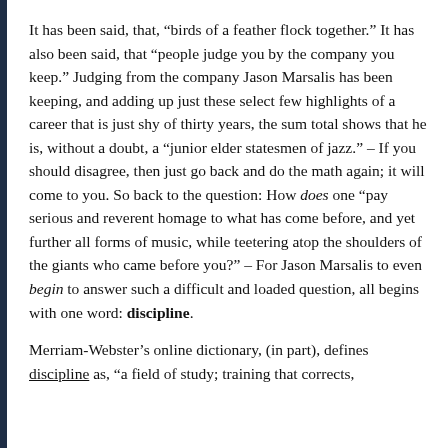It has been said, that, “birds of a feather flock together.” It has also been said, that “people judge you by the company you keep.” Judging from the company Jason Marsalis has been keeping, and adding up just these select few highlights of a career that is just shy of thirty years, the sum total shows that he is, without a doubt, a “junior elder statesmen of jazz.” – If you should disagree, then just go back and do the math again; it will come to you. So back to the question: How does one “pay serious and reverent homage to what has come before, and yet further all forms of music, while teetering atop the shoulders of the giants who came before you?” – For Jason Marsalis to even begin to answer such a difficult and loaded question, all begins with one word: discipline.
Merriam-Webster’s online dictionary, (in part), defines discipline as, “a field of study; training that corrects,